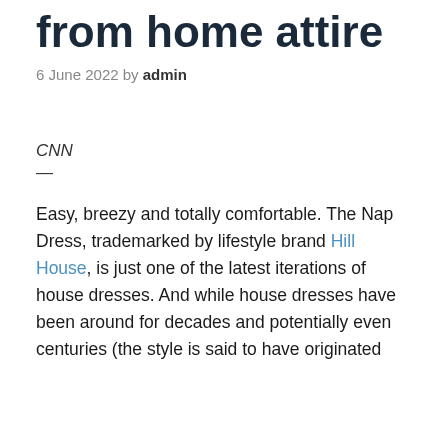from home attire
6 June 2022 by admin
CNN
—
Easy, breezy and totally comfortable. The Nap Dress, trademarked by lifestyle brand Hill House, is just one of the latest iterations of house dresses. And while house dresses have been around for decades and potentially even centuries (the style is said to have originated